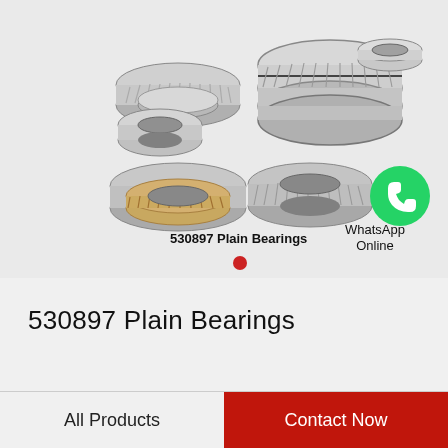[Figure (photo): Multiple tapered roller bearings and plain bearings arranged in a group. Top row shows two sets of tapered roller bearing components (cone and cup assemblies). Bottom row shows two more bearings including a brass-caged bearing and a cylindrical roller bearing outer race. A WhatsApp green phone icon appears to the right with text 'WhatsApp Online'. Text overlay reads '530897 Plain Bearings'.]
530897 Plain Bearings
530897 Plain Bearings
All Products   Contact Now